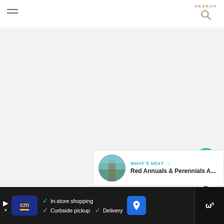SEARCH
[Figure (photo): Main content area - light gray placeholder image area]
[Figure (illustration): Teal circular heart/like button]
1
[Figure (illustration): White circular share button with share icon]
WHAT'S NEXT → Red Annuals & Perennials A...
[Figure (photo): Small circular thumbnail of garden path]
[Figure (screenshot): Advertisement banner - CM logo, In-store shopping, Curbside pickup, Delivery]